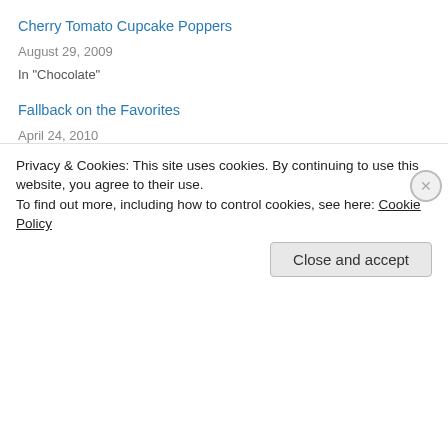Cherry Tomato Cupcake Poppers
August 29, 2009
In "Chocolate"
Fallback on the Favorites
April 24, 2010
In "Chocolate"
July 23, 2010
8 Replies
« Previous
Next »
Privacy & Cookies: This site uses cookies. By continuing to use this website, you agree to their use.
To find out more, including how to control cookies, see here: Cookie Policy
Close and accept